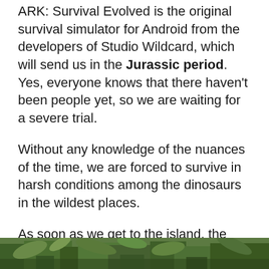ARK: Survival Evolved is the original survival simulator for Android from the developers of Studio Wildcard, which will send us in the Jurassic period. Yes, everyone knows that there haven't been people yet, so we are waiting for a severe trial.
Without any knowledge of the nuances of the time, we are forced to survive in harsh conditions among the dinosaurs in the wildest places.
As soon as we get to the island, the main character is surrounded by prehistoric nature. Everywhere there is a fern, palm trees, and other exotic plants. The majority of animals don't show aggression. In any case, if we ourselves don't approach them.
[Figure (photo): Partial view of a prehistoric/jungle scene at the bottom of the page, showing lush green vegetation.]